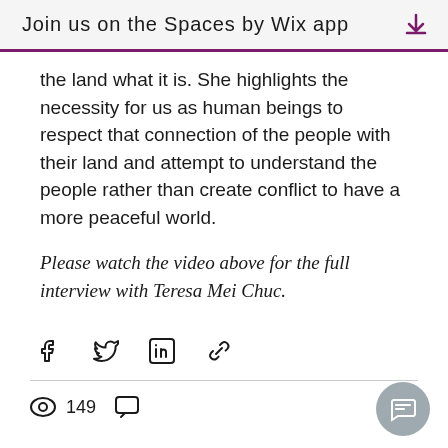Join us on the Spaces by Wix app
the land what it is. She highlights the necessity for us as human beings to respect that connection of the people with their land and attempt to understand the people rather than create conflict to have a more peaceful world.
Please watch the video above for the full interview with Teresa Mei Chuc.
[Figure (other): Social share icons: Facebook, Twitter, LinkedIn, and link/copy icon]
149